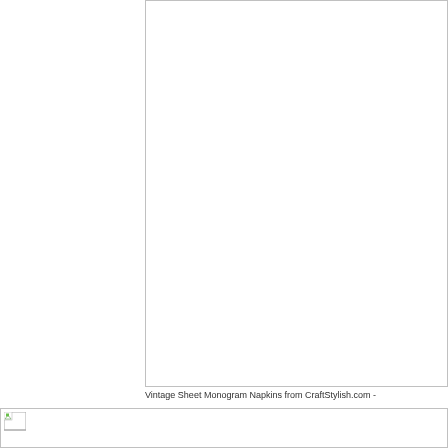[Figure (photo): Top image placeholder box with border, appears to be a missing/unloaded image area]
Vintage Sheet Monogram Napkins from CraftStylish.com -
[Figure (photo): Bottom image placeholder with broken image icon, partially visible]